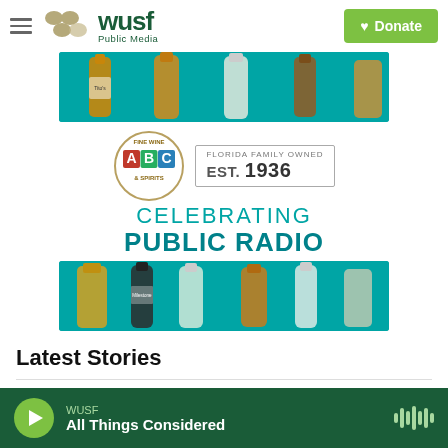WUSF Public Media — Donate
[Figure (advertisement): ABC Fine Wine & Spirits advertisement banner showing liquor bottles on teal background, ABC logo with 'Fine Wine & Spirits', 'Florida Family Owned Est. 1936', and text 'Celebrating Public Radio']
Latest Stories
WUSF — All Things Considered (audio player bar)